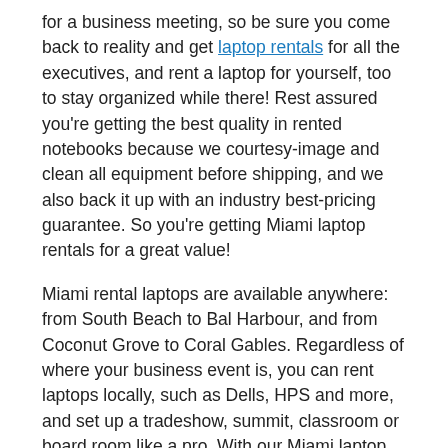for a business meeting, so be sure you come back to reality and get laptop rentals for all the executives, and rent a laptop for yourself, too to stay organized while there! Rest assured you're getting the best quality in rented notebooks because we courtesy-image and clean all equipment before shipping, and we also back it up with an industry best-pricing guarantee. So you're getting Miami laptop rentals for a great value!
Miami rental laptops are available anywhere: from South Beach to Bal Harbour, and from Coconut Grove to Coral Gables. Regardless of where your business event is, you can rent laptops locally, such as Dells, HPS and more, and set up a tradeshow, summit, classroom or board room like a pro. With our Miami laptop rentals, you can choose from a large quantity of matching models, so don't fret about the technicalities of different machines.
For Miami, FL area laptop rentals, call us at (866) 226-5957, email us, or fill out a Quote Form.